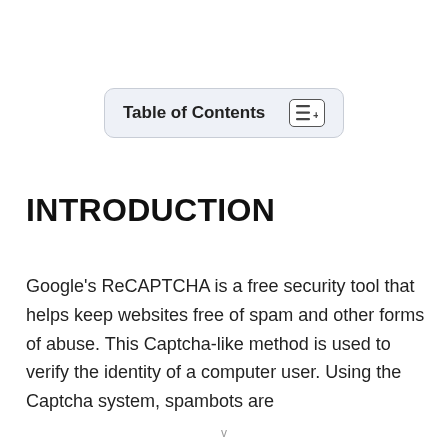Table of Contents
INTRODUCTION
Google’s ReCAPTCHA is a free security tool that helps keep websites free of spam and other forms of abuse. This Captcha-like method is used to verify the identity of a computer user. Using the Captcha system, spambots are